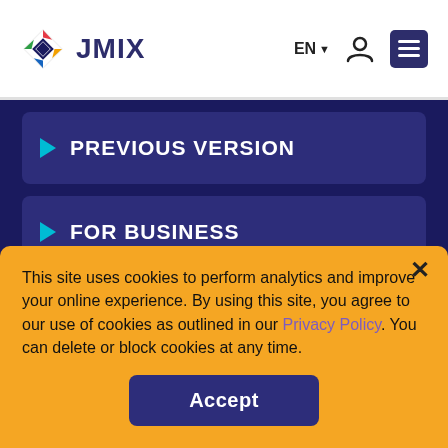JMIX | EN | navigation menu
PREVIOUS VERSION
FOR BUSINESS
FOR DEVELOPERS
This site uses cookies to perform analytics and improve your online experience. By using this site, you agree to our use of cookies as outlined in our Privacy Policy. You can delete or block cookies at any time.
Accept